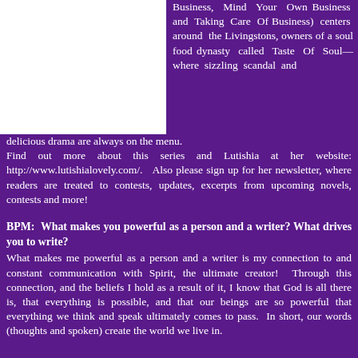[Figure (photo): White rectangle placeholder image in top-left]
Business, Mind Your Own Business and Taking Care Of Business) centers around the Livingstons, owners of a soul food dynasty called Taste Of Soul—where sizzling scandal and delicious drama are always on the menu.
Find out more about this series and Lutishia at her website: http://www.lutishialovely.com/.   Also please sign up for her newsletter, where readers are treated to contests, updates, excerpts from upcoming novels, contests and more!
BPM:  What makes you powerful as a person and a writer?  What drives you to write?
What makes me powerful as a person and a writer is my connection to and constant communication with Spirit, the ultimate creator!  Through this connection, and the beliefs I hold as a result of it, I know that God is all there is, that everything is possible, and that our beings are so powerful that everything we think and speak ultimately comes to pass.  In short, our words (thoughts and spoken) create the world we live in.